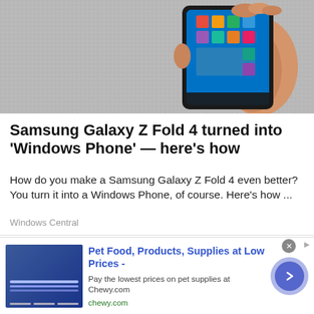[Figure (photo): Hand holding a Samsung Galaxy Z Fold 4 displaying a Windows-style interface on a gray carpet background]
Samsung Galaxy Z Fold 4 turned into 'Windows Phone' — here's how
How do you make a Samsung Galaxy Z Fold 4 even better? You turn it into a Windows Phone, of course. Here's how ...
Windows Central
[Figure (photo): Synology NAS device (4-bay) shown on dark background]
Pet Food, Products, Supplies at Low Prices -
Pay the lowest prices on pet supplies at Chewy.com
chewy.com